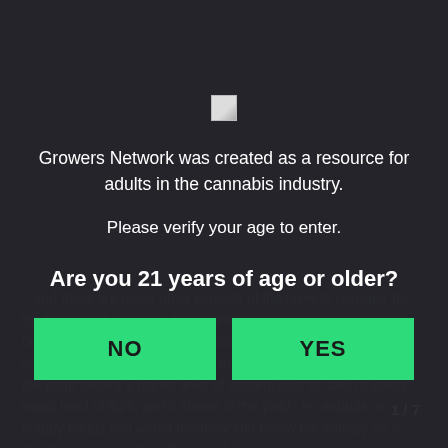[Figure (logo): Small broken/placeholder image icon in center of modal]
Growers Network was created as a resource for adults in the cannabis industry.
Please verify your age to enter.
Are you 21 years of age or older?
NO
YES
...and it shows in the yield...no airbuds or crappy things you would normally find below the canopy on a standard grow...just really so end...
1 / 7